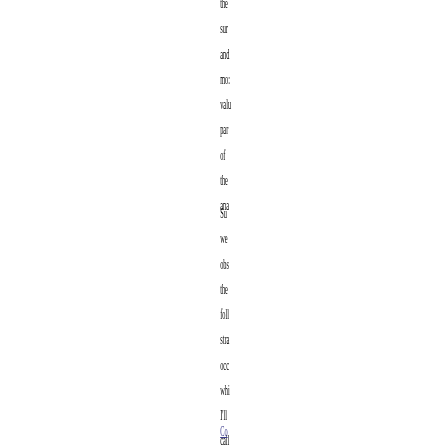the sur and mo: valu par of the ana
Su we obs the foll stra occ whi I'll call BA ..
Co